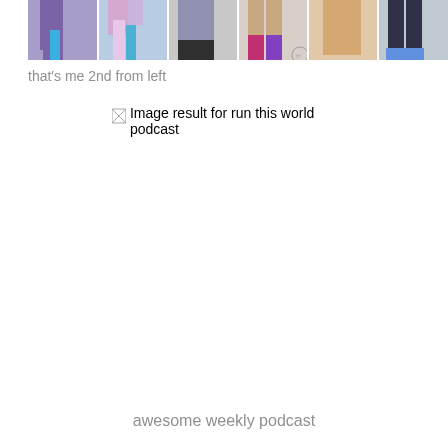[Figure (photo): A collage of running legs/feet photos showing six different runners, cropped to show lower body. Various running outfits including colorful socks and shoes.]
that's me 2nd from left
[Figure (photo): Broken/missing image placeholder with alt text 'Image result for run this world podcast']
awesome weekly podcast